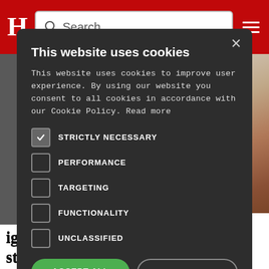[Figure (screenshot): Website header with red background, H logo, search bar, and hamburger menu icon]
[Figure (screenshot): Cookie consent modal dialog on dark background with checkboxes for cookie categories and Accept/Decline buttons]
This website uses cookies
This website uses cookies to improve user experience. By using our website you consent to all cookies in accordance with our Cookie Policy. Read more
STRICTLY NECESSARY
PERFORMANCE
TARGETING
FUNCTIONALITY
UNCLASSIFIED
ACCEPT ALL
DECLINE ALL
SHOW DETAILS
igh as staffing shortages grow